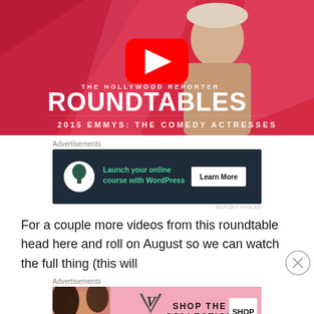[Figure (screenshot): YouTube video thumbnail for The Hollywood Reporter Roundtables - 2015 Emmys: The Comedy Actresses, showing a person in a beige turtleneck against a pink/red geometric background with a YouTube play button overlay]
Advertisements
[Figure (screenshot): Advertisement banner: dark background with WordPress/Kadence logo icon, text 'Launch your online course with WordPress', and a 'Learn More' button]
For a couple more videos from this roundtable head here and roll on August so we can watch the full thing (this will
Advertisements
[Figure (screenshot): Victoria's Secret advertisement: pink background with model, VS logo, text 'SHOP THE COLLECTION', and 'SHOP NOW' button]